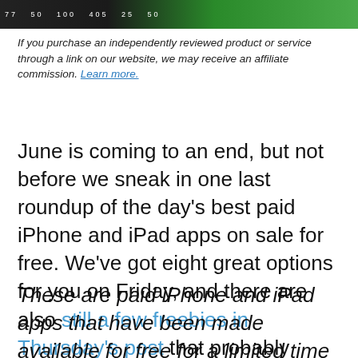[Figure (photo): Dark banner image strip at the top showing partially visible numbers and a green-tinted background element]
If you purchase an independently reviewed product or service through a link on our website, we may receive an affiliate commission. Learn more.
June is coming to an end, but not before we sneak in one last roundup of the day’s best paid iPhone and iPad apps on sale for free. We’ve got eight great options for you on Friday, and there are also still a few freebies in Thursday’s post that probably won’t be free for much longer.
These are paid iPhone and iPad apps that have been made available for free for a limited time by their developers. There is no way to tell how long they will be free. These sales could end an hour from…